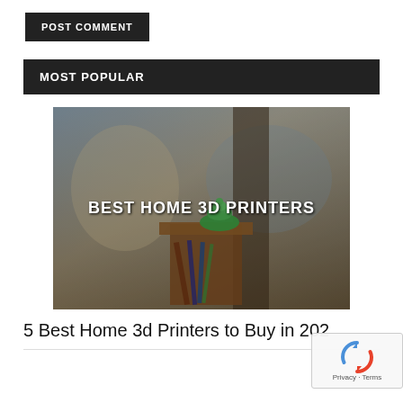POST COMMENT
MOST POPULAR
[Figure (photo): A photo showing 3D printed green object on a wooden stand with pencils/pens in the background, with overlay text reading BEST HOME 3D PRINTERS]
5 Best Home 3d Printers to Buy in 202